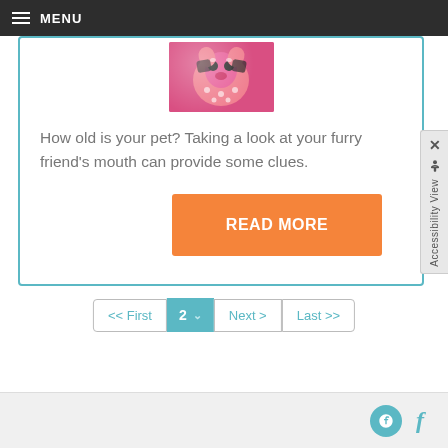MENU
[Figure (photo): Photo of a small dog wearing pink polka dot outfit and sunglasses]
How old is your pet? Taking a look at your furry friend's mouth can provide some clues.
READ MORE
« First  2  Next >  Last »
Social media icons footer